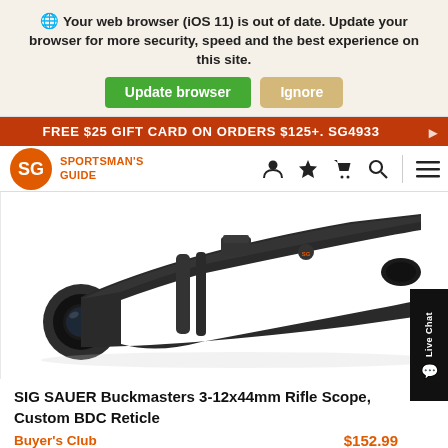Your web browser (iOS 11) is out of date. Update your browser for more security, speed and the best experience on this site. [Update browser] [Ignore]
FREE $25 GIFT CARD ON ORDERS $125+. SG4933
[Figure (logo): Sportsman's Guide logo with orange SG letters and deer icon]
[Figure (photo): SIG SAUER Buckmasters 3-12x44mm rifle scope on white background, dark matte black finish, objective lens visible on left]
SIG SAUER Buckmasters 3-12x44mm Rifle Scope, Custom BDC Reticle
Buyer's Club    $152.99